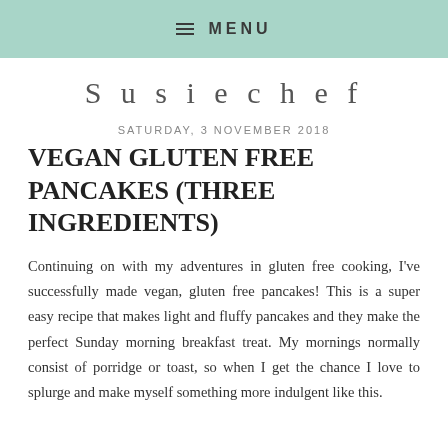≡ MENU
Susiechef
SATURDAY, 3 NOVEMBER 2018
VEGAN GLUTEN FREE PANCAKES (THREE INGREDIENTS)
Continuing on with my adventures in gluten free cooking, I've successfully made vegan, gluten free pancakes! This is a super easy recipe that makes light and fluffy pancakes and they make the perfect Sunday morning breakfast treat. My mornings normally consist of porridge or toast, so when I get the chance I love to splurge and make myself something more indulgent like this.